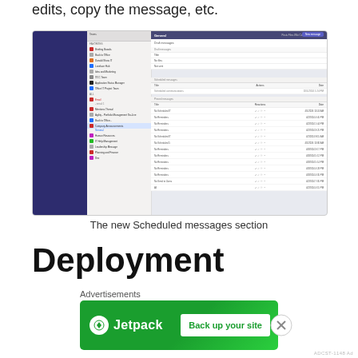edits, copy the message, etc.
[Figure (screenshot): Screenshot of Microsoft Teams interface showing the new Scheduled messages section with a list of scheduled messages and their statuses/dates]
The new Scheduled messages section
Deployment
Advertisements
[Figure (other): Jetpack advertisement banner with green background showing logo and 'Back up your site' call to action button]